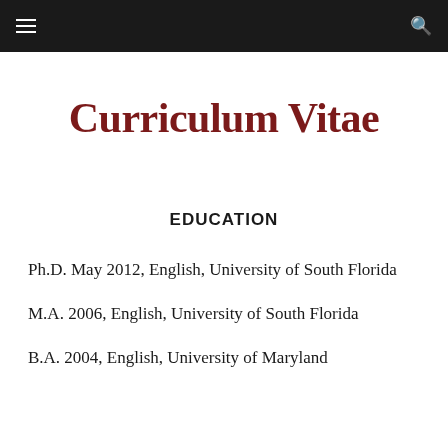Curriculum Vitae
EDUCATION
Ph.D. May 2012, English, University of South Florida
M.A. 2006, English, University of South Florida
B.A. 2004, English, University of Maryland